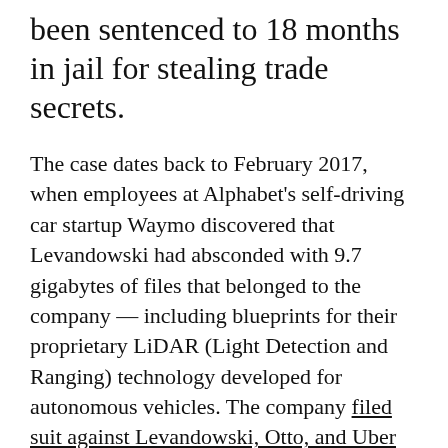been sentenced to 18 months in jail for stealing trade secrets.
The case dates back to February 2017, when employees at Alphabet's self-driving car startup Waymo discovered that Levandowski had absconded with 9.7 gigabytes of files that belonged to the company — including blueprints for their proprietary LiDAR (Light Detection and Ranging) technology developed for autonomous vehicles. The company filed suit against Levandowski, Otto, and Uber for trade-secret theft, and for a couple of months Uber adamantly denied